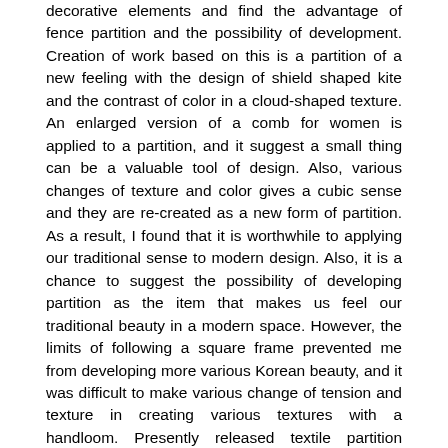decorative elements and find the advantage of fence partition and the possibility of development. Creation of work based on this is a partition of a new feeling with the design of shield shaped kite and the contrast of color in a cloud-shaped texture. An enlarged version of a comb for women is applied to a partition, and it suggest a small thing can be a valuable tool of design. Also, various changes of texture and color gives a cubic sense and they are re-created as a new form of partition. As a result, I found that it is worthwhile to applying our traditional sense to modern design. Also, it is a chance to suggest the possibility of developing partition as the item that makes us feel our traditional beauty in a modern space. However, the limits of following a square frame prevented me from developing more various Korean beauty, and it was difficult to make various change of tension and texture in creating various textures with a handloom. Presently released textile partition merely uses the textile of repeating patterns despite infinite possibility of development. Therefore, using Korea traditional image in making a partition will help create more individualistic space. This study expects the completion of modeling by suggesting newly translated and created textile partition, and it is intended to give help with the